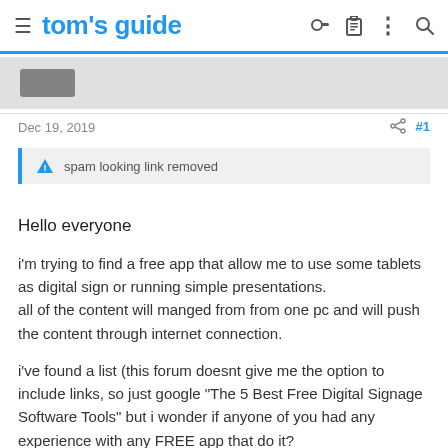tom's guide
[Figure (other): Partially visible profile image or logo at top of page content area]
Dec 19, 2019
#1
spam looking link removed
Hello everyone
i'm trying to find a free app that allow me to use some tablets as digital sign or running simple presentations.
all of the content will manged from from one pc and will push the content through internet connection.
i've found a list (this forum doesnt give me the option to include links, so just google "The 5 Best Free Digital Signage Software Tools" but i wonder if anyone of you had any experience with any FREE app that do it?